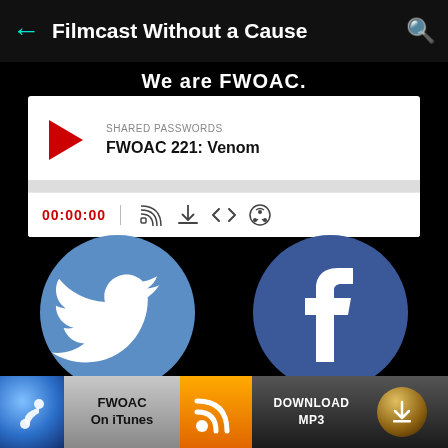Filmcast Without a Cause
We are FWOAC.
[Figure (screenshot): Podcast audio player widget showing episode FWOAC 221: Venom under SHARED PASSWORDS label. Shows red play button, progress bar, timestamp 00:00:00, and control icons for cast, download, embed, and share.]
[Figure (logo): Twitter logo - white bird on blue circle background]
[Figure (logo): Facebook logo - white f on dark blue circle background]
[Figure (infographic): Bottom navigation bar with iTunes button, RSS feed button, and Download MP3 button]